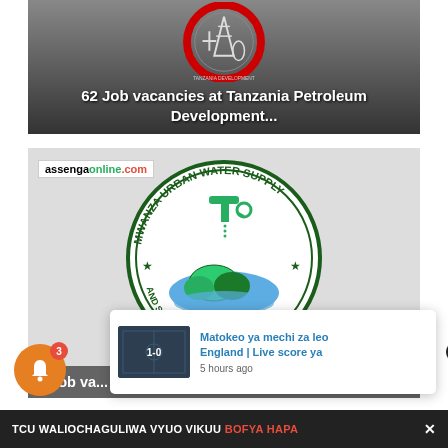[Figure (photo): Tanzania Petroleum Development Corporation logo/emblem on dark grey gradient background with article headline overlay]
62 Job vacancies at Tanzania Petroleum Development...
[Figure (photo): Mwanza Urban Water Supply and Sanitation Authority circular logo on light grey background, with assengaonline.com watermark]
4 Job va...
Matokeo ya mechi za leo England | Live score ya
5 hours ago
TCU WALIOCHAGULIWA VYUO VIKUU BOFYA HAPA